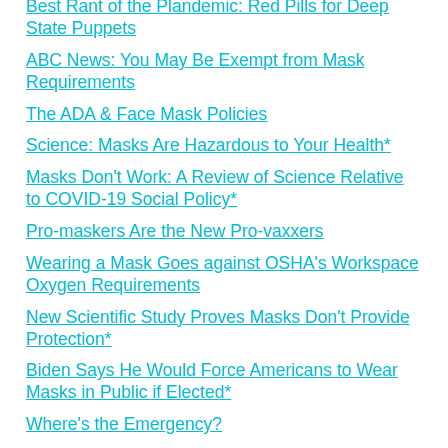Best Rant of the Plandemic: Red Pills for Deep State Puppets
ABC News: You May Be Exempt from Mask Requirements
The ADA & Face Mask Policies
Science: Masks Are Hazardous to Your Health*
Masks Don't Work: A Review of Science Relative to COVID-19 Social Policy*
Pro-maskers Are the New Pro-vaxxers
Wearing a Mask Goes against OSHA's Workspace Oxygen Requirements
New Scientific Study Proves Masks Don't Provide Protection*
Biden Says He Would Force Americans to Wear Masks in Public if Elected*
Where's the Emergency?